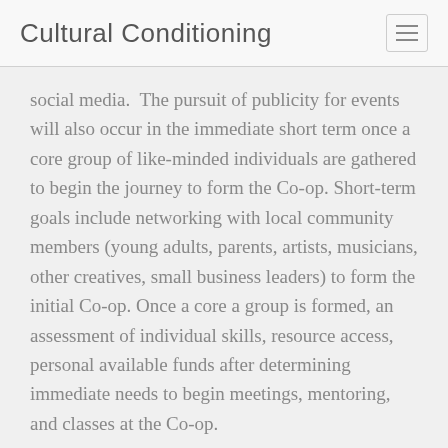Cultural Conditioning
social media.  The pursuit of publicity for events will also occur in the immediate short term once a core group of like-minded individuals are gathered to begin the journey to form the Co-op. Short-term goals include networking with local community members (young adults, parents, artists, musicians, other creatives, small business leaders) to form the initial Co-op. Once a core a group is formed, an assessment of individual skills, resource access, personal available funds after determining immediate needs to begin meetings, mentoring, and classes at the Co-op.
Organizational Considerations
There will be some overlap with other sections of the